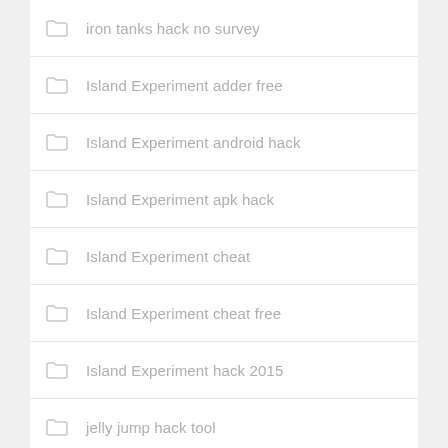iron tanks hack no survey
Island Experiment adder free
Island Experiment android hack
Island Experiment apk hack
Island Experiment cheat
Island Experiment cheat free
Island Experiment hack 2015
jelly jump hack tool
jelly jump hack tool android
jelly jump hack tool free download
jelly jump hack tool ios
jelly jump hack tool no password